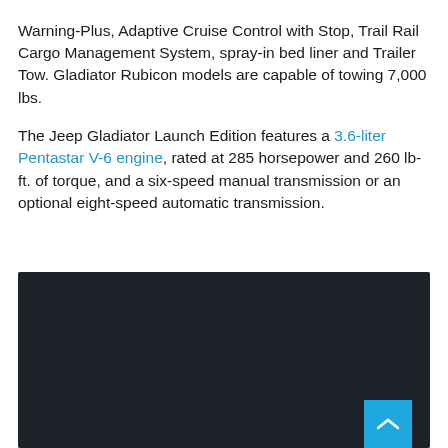Warning-Plus, Adaptive Cruise Control with Stop, Trail Rail Cargo Management System, spray-in bed liner and Trailer Tow. Gladiator Rubicon models are capable of towing 7,000 lbs.
The Jeep Gladiator Launch Edition features a 3.6-liter Pentastar V-6 engine, rated at 285 horsepower and 260 lb-ft. of torque, and a six-speed manual transmission or an optional eight-speed automatic transmission.
[Figure (photo): Dark/black image area representing a photo of the Jeep Gladiator vehicle, with a scroll-to-top button in the bottom right corner.]